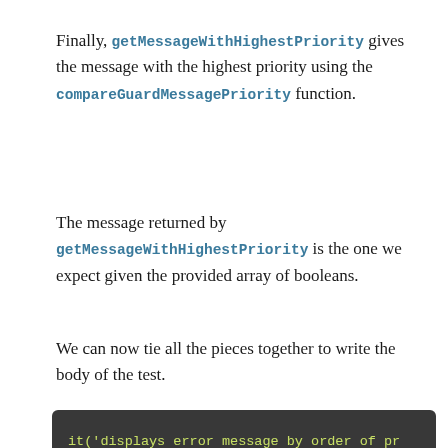Finally, getMessageWithHighestPriority gives the message with the highest priority using the compareGuardMessagePriority function.
The message returned by getMessageWithHighestPriority is the one we expect given the provided array of booleans.
We can now tie all the pieces together to write the body of the test.
[Figure (screenshot): Code block on dark background showing: it('displays error message by order of pr  fc.assert(fc.property(  fc.array(fc.boolean(), {minLength]